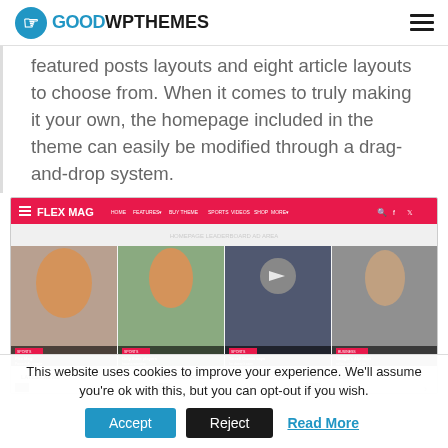GOODWPTHEMES
featured posts layouts and eight article layouts to choose from. When it comes to truly making it your own, the homepage included in the theme can easily be modified through a drag-and-drop system.
[Figure (screenshot): Screenshot of the Flex Mag WordPress theme homepage showing a pink navigation bar with the Flex Mag logo and menu items, a featured posts slider with four images including articles about tennis, sports, and business, and section headers for Latest News, Featured News, and Most Popular.]
This website uses cookies to improve your experience. We'll assume you're ok with this, but you can opt-out if you wish.